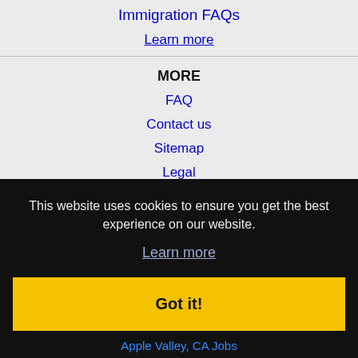Immigration FAQs
Learn more
MORE
FAQ
Contact us
Sitemap
Legal
This website uses cookies to ensure you get the best experience on our website.
Learn more
Got it!
Apple Valley, CA Jobs